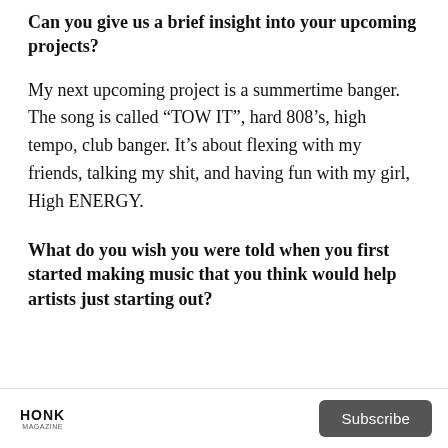Can you give us a brief insight into your upcoming projects?
My next upcoming project is a summertime banger. The song is called “TOW IT”, hard 808’s, high tempo, club banger. It’s about flexing with my friends, talking my shit, and having fun with my girl, High ENERGY.
What do you wish you were told when you first started making music that you think would help artists just starting out?
HONK | Subscribe